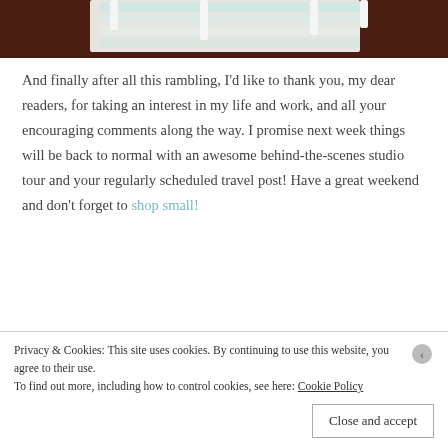[Figure (photo): Top portion of a photo showing folded fabrics/linens and white pegboard pegs against a dark brown background]
And finally after all this rambling, I'd like to thank you, my dear readers, for taking an interest in my life and work, and all your encouraging comments along the way. I promise next week things will be back to normal with an awesome behind-the-scenes studio tour and your regularly scheduled travel post! Have a great weekend and don't forget to shop small!
Privacy & Cookies: This site uses cookies. By continuing to use this website, you agree to their use.
To find out more, including how to control cookies, see here: Cookie Policy
Close and accept